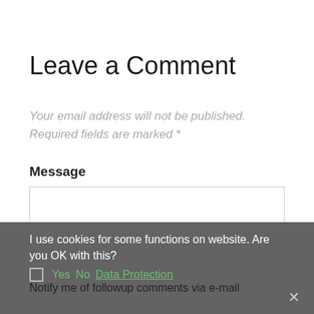Leave a Comment
Your email address will not be published. Required fields are marked *
Message
[Figure (other): Empty textarea input box with light gray border]
I use cookies for some functions on website. Are you OK with this?
Yes  No  Data Protection
Notify me of followup comments via e-mail